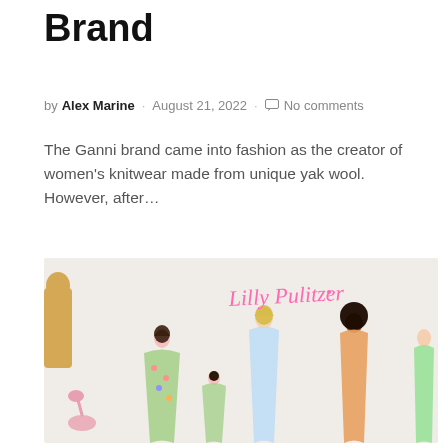Brand
by Alex Marine · August 21, 2022 · No comments
The Ganni brand came into fashion as the creator of women's knitwear made from unique yak wool. However, after…
[Figure (photo): Lilly Pulitzer brand photo showing women and children in colorful floral dresses, with a giraffe and flamingo visible, and the Lilly Pulitzer script logo in pink.]